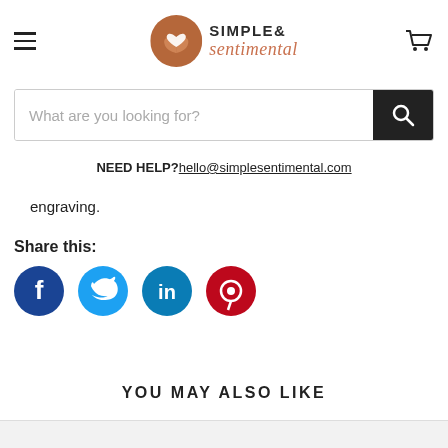[Figure (logo): Simple & Sentimental logo with a brown circular badge containing a heart/ribbon icon, followed by the text 'SIMPLE&' in bold dark letters and 'sentimental' in orange-brown italic script]
[Figure (other): Search bar with placeholder text 'What are you looking for?' and a dark search button with magnifier icon on the right]
NEED HELP? hello@simplesentimental.com
engraving.
Share this:
[Figure (infographic): Four circular social media share icons: Facebook (dark blue), Twitter (light blue), LinkedIn (teal blue), Pinterest (red)]
YOU MAY ALSO LIKE